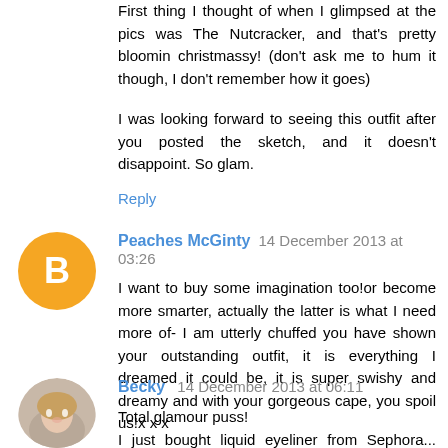First thing I thought of when I glimpsed at the pics was The Nutcracker, and that's pretty bloomin christmassy! (don't ask me to hum it though, I don't remember how it goes)

I was looking forward to seeing this outfit after you posted the sketch, and it doesn't disappoint. So glam.
Reply
Peaches McGinty  14 December 2013 at 03:26
I want to buy some imagination too!or become more smarter, actually the latter is what I need more of- I am utterly chuffed you have shown your outstanding outfit, it is everything I dreamed it could be, it is super swishy and dreamy and with your gorgeous cape, you spoil us!x x x
Reply
Becky  14 December 2013 at 06:11
Total glamour puss!
I just bought liquid eyeliner from Sephora... Been practicing